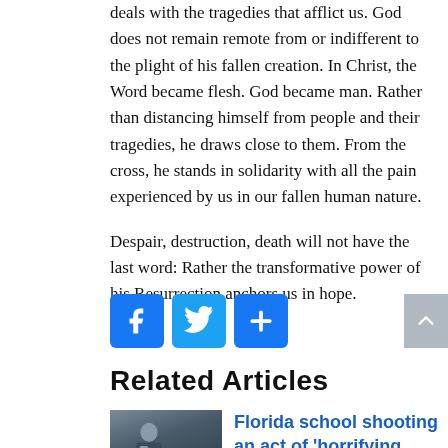deals with the tragedies that afflict us. God does not remain remote from or indifferent to the plight of his fallen creation. In Christ, the Word became flesh. God became man. Rather than distancing himself from people and their tragedies, he draws close to them. From the cross, he stands in solidarity with all the pain experienced by us in our fallen human nature.
Despair, destruction, death will not have the last word: Rather the transformative power of his Resurrection anchors us in hope.
[Figure (other): Social sharing buttons: Facebook (blue), Twitter (blue bird), Share/Plus (blue), and a scroll-to-top arrow button (grey)]
Related Articles
[Figure (photo): Photo of a person at a Florida school shooting scene]
Florida school shooting an act of 'horrifying